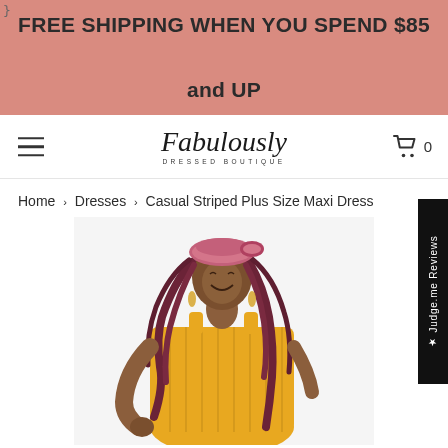FREE SHIPPING WHEN YOU SPEND $85 and UP
Fabulously DRESSED BOUTIQUE  0
Home › Dresses › Casual Striped Plus Size Maxi Dress
[Figure (photo): Woman wearing a yellow striped sleeveless maxi dress with pink braided hair accessory, smiling. She has long dark reddish-brown locs. The product being displayed is a Casual Striped Plus Size Maxi Dress.]